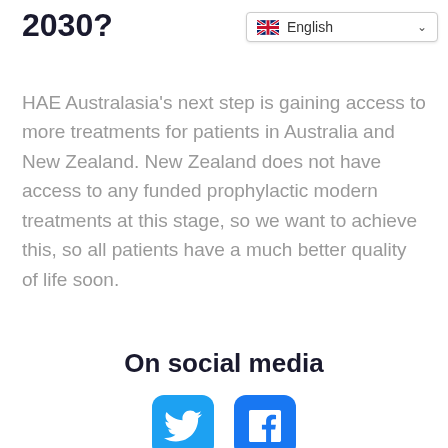2030?
[Figure (infographic): Language selector dropdown showing UK flag and 'English' with a chevron/arrow]
HAE Australasia's next step is gaining access to more treatments for patients in Australia and New Zealand. New Zealand does not have access to any funded prophylactic modern treatments at this stage, so we want to achieve this, so all patients have a much better quality of life soon.
On social media
[Figure (logo): Twitter bird icon logo in white on blue rounded square background]
[Figure (logo): Facebook 'f' icon logo in white on blue rounded square background]